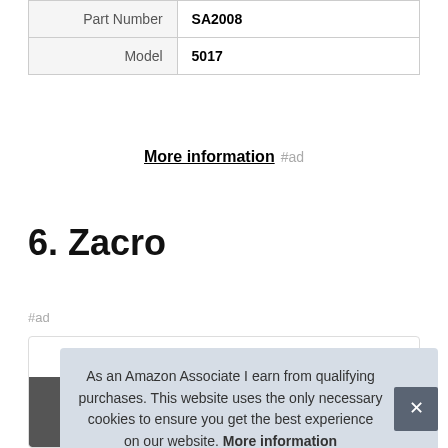| Part Number | SA2008 |
| Model | 5017 |
More information #ad
6. Zacro
#ad
As an Amazon Associate I earn from qualifying purchases. This website uses the only necessary cookies to ensure you get the best experience on our website. More information